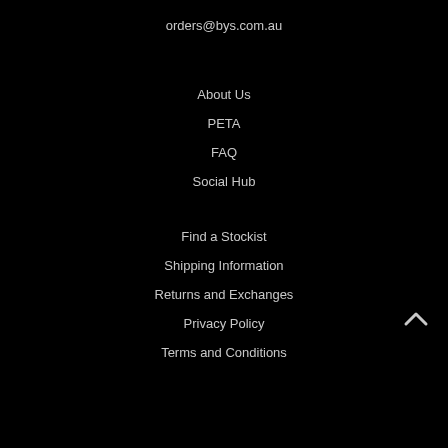orders@bys.com.au
About Us
PETA
FAQ
Social Hub
Find a Stockist
Shipping Information
Returns and Exchanges
Privacy Policy
Terms and Conditions